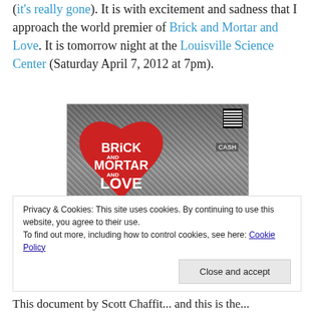(it's really gone). It is with excitement and sadness that I approach the world premier of Brick and Mortar and Love. It is tomorrow night at the Louisville Science Center (Saturday April 7, 2012 at 7pm).
[Figure (photo): Movie poster for 'Brick and Mortar and Love' documentary featuring a large red heart logo on a black and white background of a record shop, with text describing the film about indie record shops.]
Privacy & Cookies: This site uses cookies. By continuing to use this website, you agree to their use. To find out more, including how to control cookies, see here: Cookie Policy
This document by Scott Chaffit... and this is the...